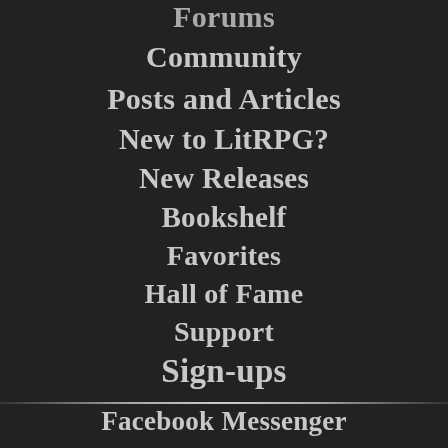Forums
Community
Posts and Articles
New to LitRPG?
New Releases
Bookshelf
Favorites
Hall of Fame
Support
Sign-ups
Facebook Messenger
Discord